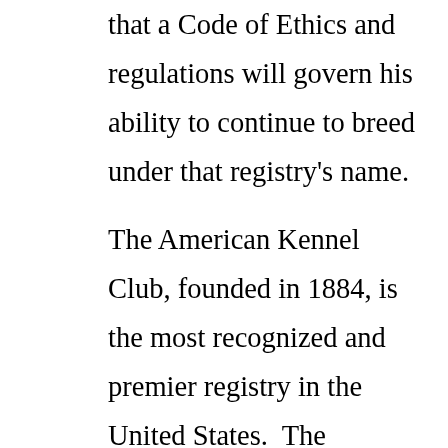that a Code of Ethics and regulations will govern his ability to continue to breed under that registry's name.
The American Kennel Club, founded in 1884, is the most recognized and premier registry in the United States.  The integrity of their registry is unmatched.  They are dedicated to promoting the sport of purebred dogs and breeding for type and function.  They AKC and its affiliated organizations advocate for the purebred dog as a family companion,